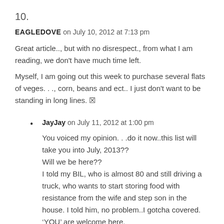10.
EAGLEDOVE on July 10, 2012 at 7:13 pm
Great article.., but with no disrespect., from what I am reading, we don't have much time left.
Myself, I am going out this week to purchase several flats of veges…., corn, beans and ect.. I just don't want to be standing in long lines. 🙂
JayJay on July 11, 2012 at 1:00 pm
You voiced my opinion…do it now..this list will take you into July, 2013??
Will we be here??
I told my BIL, who is almost 80 and still driving a truck, who wants to start storing food with resistance from the wife and step son in the house. I told him, no problem..I gotcha covered. 'YOU' are welcome here.